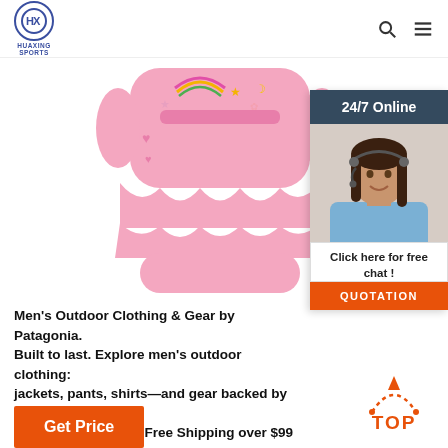HUAXING SPORTS [logo] Search Menu
[Figure (photo): Pink children's flotation swimsuit/life jacket with rainbow, moon and star decorations, ruffled skirt bottom, displayed on white background]
[Figure (photo): 24/7 Online customer service widget showing a smiling woman with headset, with 'Click here for free chat!' text and orange QUOTATION button]
Men's Outdoor Clothing & Gear by Patagonia. Built to last. Explore men's outdoor clothing: jackets, pants, shirts—and gear backed by our Ironclad Guarantee. Free Shipping over $99 at Patagonia.com.
Get Price
[Figure (illustration): Orange 'TOP' back-to-top button with dotted arc arrow above the text]